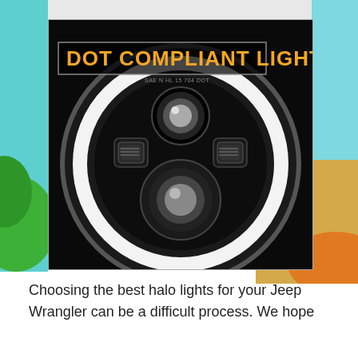[Figure (photo): A round LED headlight (halo light) for a Jeep Wrangler, shown on a dark background with a colorful beach/tropical scene background. The headlight has a white halo ring, a large lower lens, a smaller upper lens, and two side projector elements. A text overlay reads 'DOT COMPLIANT LIGHT' in bold orange uppercase letters on a dark semi-transparent banner.]
Choosing the best halo lights for your Jeep Wrangler can be a difficult process. We hope